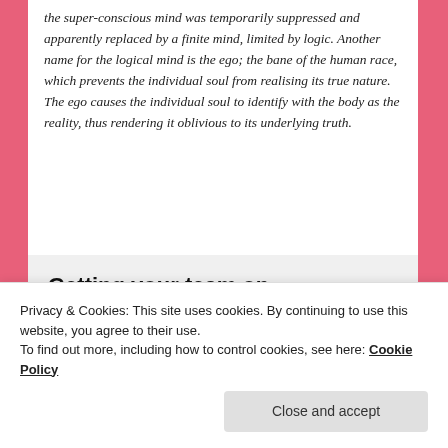the super-conscious mind was temporarily suppressed and apparently replaced by a finite mind, limited by logic. Another name for the logical mind is the ego; the bane of the human race, which prevents the individual soul from realising its true nature. The ego causes the individual soul to identify with the body as the reality, thus rendering it oblivious to its underlying truth.
[Figure (other): Advertisement banner reading 'Getting your team on the same page is easy. And free.' with circular avatar photos of three people and a blue plus button.]
Privacy & Cookies: This site uses cookies. By continuing to use this website, you agree to their use.
To find out more, including how to control cookies, see here: Cookie Policy